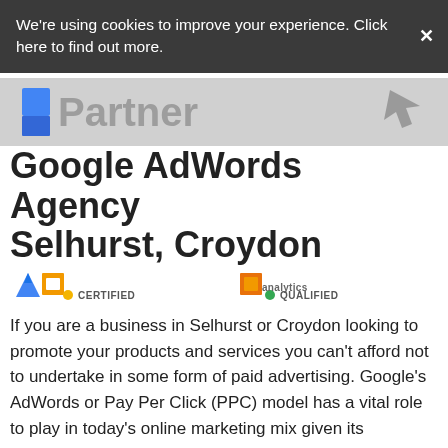We're using cookies to improve your experience. Click here to find out more.
[Figure (logo): Google Partner logo watermark on gray background with 'Partner' text]
Google AdWords Agency Selhurst, Croydon
[Figure (logo): Google AdWords Certified badge and Google Analytics Qualified badge]
If you are a business in Selhurst or Croydon looking to promote your products and services you can't afford not to undertake in some form of paid advertising. Google's AdWords or Pay Per Click (PPC) model has a vital role to play in today's online marketing mix given its unquestionable ability to put your message (advert) in front of a targeted audience interested in what you have to offer.
However, it is also affectionately known in the industry as a "stupidity tax"; set your campaign up incorrectly and watch your budget run dry in no time. We see many companies have experienced this first hand and simply